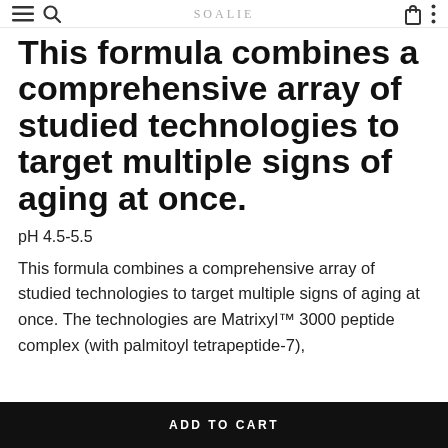SOALIE
This formula combines a comprehensive array of studied technologies to target multiple signs of aging at once.
pH 4.5-5.5
This formula combines a comprehensive array of studied technologies to target multiple signs of aging at once. The technologies are Matrixyl™ 3000 peptide complex (with palmitoyl tetrapeptide-7),
ADD TO CART